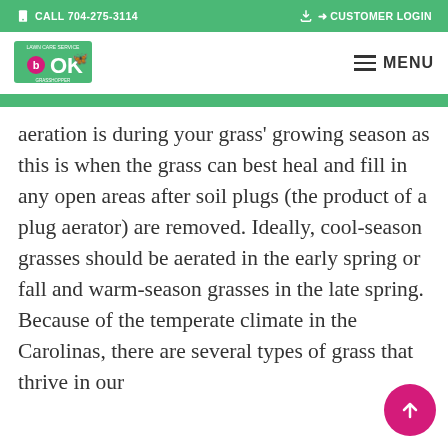CALL 704-275-3114 | CUSTOMER LOGIN
[Figure (logo): Green and pink lawn care company logo with letters OK and butterfly icon]
aeration is during your grass' growing season as this is when the grass can best heal and fill in any open areas after soil plugs (the product of a plug aerator) are removed. Ideally, cool-season grasses should be aerated in the early spring or fall and warm-season grasses in the late spring. Because of the temperate climate in the Carolinas, there are several types of grass that thrive in our